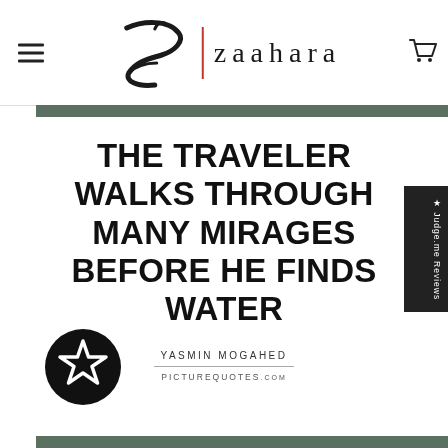zaahara — navigation header with hamburger menu and cart
[Figure (illustration): Zaahara brand logo with stylized Z and brand name in serif lowercase letters with red vertical divider bar]
[Figure (illustration): Black circle badge with white outlined star icon]
THE TRAVELER WALKS THROUGH MANY MIRAGES BEFORE HE FINDS WATER
YASMIN MOGAHED
PICTUREQUOTES.com
★ Judge.me Reviews